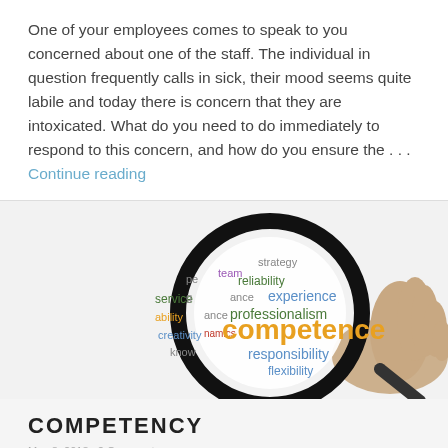One of your employees comes to speak to you concerned about one of the staff. The individual in question frequently calls in sick, their mood seems quite labile and today there is concern that they are intoxicated. What do you need to do immediately to respond to this concern, and how do you ensure the . . . Continue reading
[Figure (illustration): A magnifying glass held by a hand, with a word cloud visible through the lens. Words include: competence (large, orange), responsibility, professionalism, experience, flexibility, reliability, service, ability, creativity, knowledge, dynamics, teamwork, strategy, performance, guidance.]
COMPETENCY
May 8, 2018  2 Comments